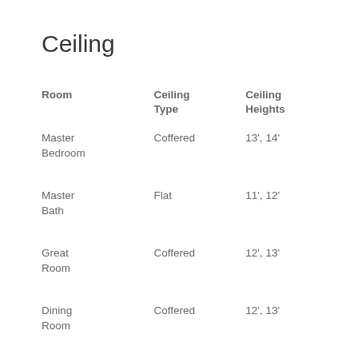Ceiling
| Room | Ceiling Type | Ceiling Heights |
| --- | --- | --- |
| Master Bedroom | Coffered | 13', 14' |
| Master Bath | Flat | 11', 12' |
| Great Room | Coffered | 12', 13' |
| Dining Room | Coffered | 12', 13' |